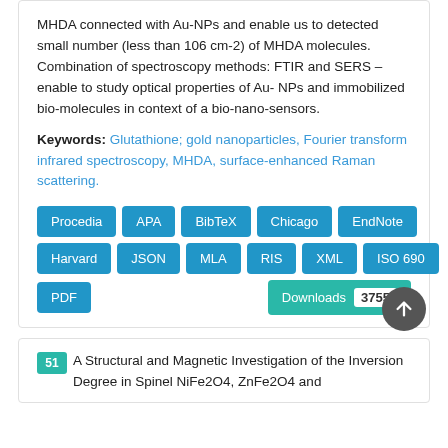MHDA connected with Au-NPs and enable us to detected small number (less than 106 cm-2) of MHDA molecules. Combination of spectroscopy methods: FTIR and SERS – enable to study optical properties of Au- NPs and immobilized bio-molecules in context of a bio-nano-sensors.
Keywords: Glutathione; gold nanoparticles, Fourier transform infrared spectroscopy, MHDA, surface-enhanced Raman scattering.
Buttons: Procedia, APA, BibTeX, Chicago, EndNote, Harvard, JSON, MLA, RIS, XML, ISO 690, PDF, Downloads 3755
51 A Structural and Magnetic Investigation of the Inversion Degree in Spinel NiFe2O4, ZnFe2O4 and